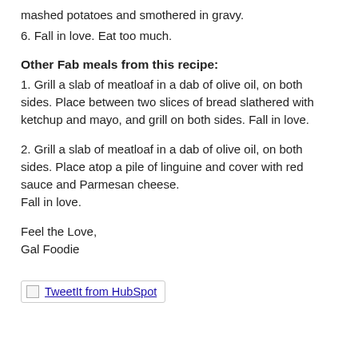mashed potatoes and smothered in gravy.
6. Fall in love. Eat too much.
Other Fab meals from this recipe:
1. Grill a slab of meatloaf in a dab of olive oil, on both sides. Place between two slices of bread slathered with ketchup and mayo, and grill on both sides. Fall in love.
2. Grill a slab of meatloaf in a dab of olive oil, on both sides. Place atop a pile of linguine and cover with red sauce and Parmesan cheese.
Fall in love.
Feel the Love,
Gal Foodie
[Figure (other): TweetIt from HubSpot button/link image]